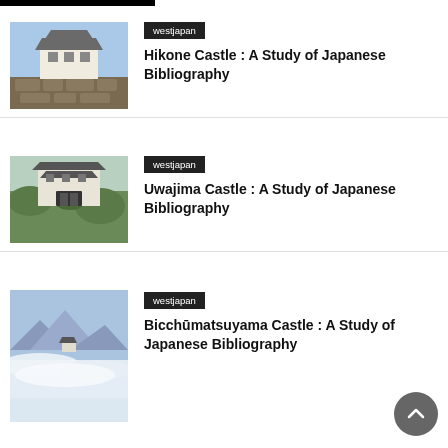[Figure (photo): Photo of Hikone Castle, a Japanese castle with white walls and stone base against a blue sky.]
westjapan
Hikone Castle : A Study of Japanese Bibliography
[Figure (photo): Photo of Uwajima Castle, a Japanese castle surrounded by trees and greenery.]
westjapan
Uwajima Castle : A Study of Japanese Bibliography
[Figure (photo): Photo of Bitchū Matsuyama Castle rising above a sea of clouds with blue mountains in the background.]
westjapan
Bicchūmatsuyama Castle : A Study of Japanese Bibliography